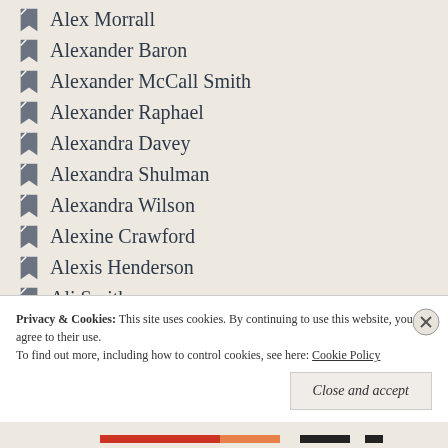Alex Morrall
Alexander Baron
Alexander McCall Smith
Alexander Raphael
Alexandra Davey
Alexandra Shulman
Alexandra Wilson
Alexine Crawford
Alexis Henderson
Ali Smith
Alice Church
Alice May
Alice Munro
Privacy & Cookies: This site uses cookies. By continuing to use this website, you agree to their use.
To find out more, including how to control cookies, see here: Cookie Policy
Close and accept